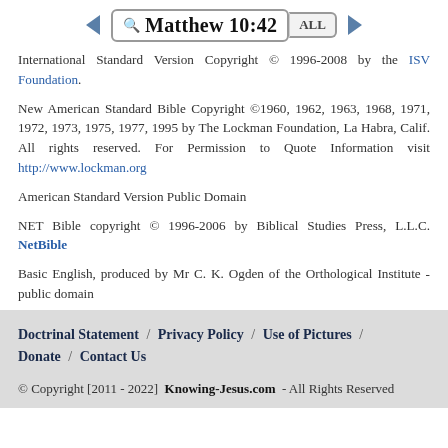Matthew 10:42 ALL
International Standard Version Copyright © 1996-2008 by the ISV Foundation.
New American Standard Bible Copyright ©1960, 1962, 1963, 1968, 1971, 1972, 1973, 1975, 1977, 1995 by The Lockman Foundation, La Habra, Calif. All rights reserved. For Permission to Quote Information visit http://www.lockman.org
American Standard Version Public Domain
NET Bible copyright © 1996-2006 by Biblical Studies Press, L.L.C. NetBible
Basic English, produced by Mr C. K. Ogden of the Orthological Institute - public domain
Doctrinal Statement / Privacy Policy / Use of Pictures / Donate / Contact Us © Copyright [2011 - 2022] Knowing-Jesus.com - All Rights Reserved